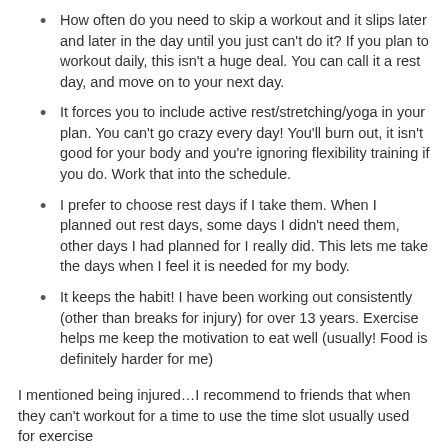How often do you need to skip a workout and it slips later and later in the day until you just can't do it? If you plan to workout daily, this isn't a huge deal. You can call it a rest day, and move on to your next day.
It forces you to include active rest/stretching/yoga in your plan. You can't go crazy every day! You'll burn out, it isn't good for your body and you're ignoring flexibility training if you do. Work that into the schedule.
I prefer to choose rest days if I take them. When I planned out rest days, some days I didn't need them, other days I had planned for I really did. This lets me take the days when I feel it is needed for my body.
It keeps the habit! I have been working out consistently (other than breaks for injury) for over 13 years. Exercise helps me keep the motivation to eat well (usually! Food is definitely harder for me)
I mentioned being injured…I recommend to friends that when they can't workout for a time to use the time slot usually used for exercise